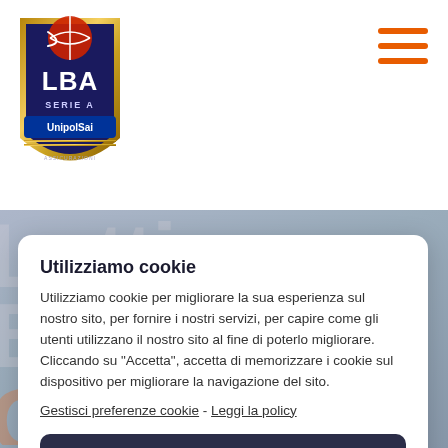[Figure (logo): LBA Serie A UnipolSai basketball league logo — shield shape with red/orange basketball graphic on top, dark blue shield with LBA text, Serie A text, and UnipolSai sponsor text]
[Figure (other): Hamburger menu icon — three horizontal orange bars]
Utilizziamo cookie
Utilizziamo cookie per migliorare la sua esperienza sul nostro sito, per fornire i nostri servizi, per capire come gli utenti utilizzano il nostro sito al fine di poterlo migliorare. Cliccando su "Accetta", accetta di memorizzare i cookie sul dispositivo per migliorare la navigazione del sito.
Gestisci preferenze cookie - Leggi la policy
Accetta
Rifiuta